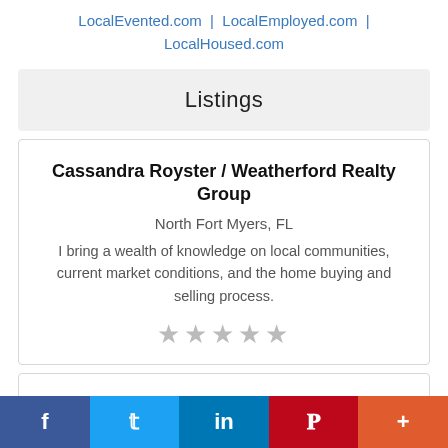LocalEvented.com  |  LocalEmployed.com  |  LocalHoused.com
Listings
Cassandra Royster / Weatherford Realty Group
North Fort Myers, FL
I bring a wealth of knowledge on local communities, current market conditions, and the home buying and selling process.
★★★★★
See analytics Promote 3 Perfect Placements for an Email Call-to-Action |
f  🐦  in  P  +